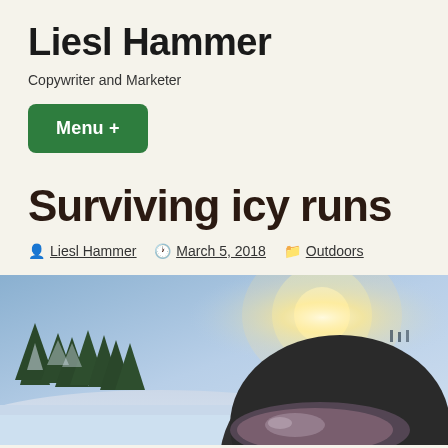Liesl Hammer
Copywriter and Marketer
Menu +
Surviving icy runs
Liesl Hammer  March 5, 2018  Outdoors
[Figure (photo): Skier on a snowy mountain slope wearing a dark helmet with goggles, snow-covered pine trees and bright sunlight in the background]